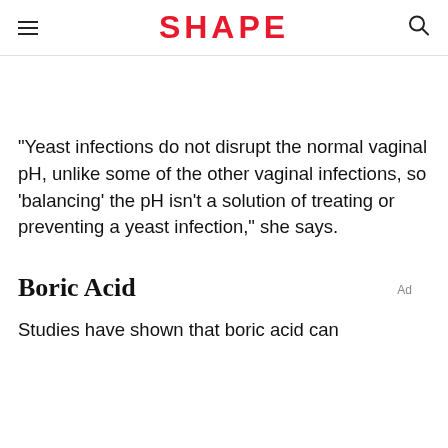SHAPE
"Yeast infections do not disrupt the normal vaginal pH, unlike some of the other vaginal infections, so 'balancing' the pH isn't a solution of treating or preventing a yeast infection," she says.
Boric Acid
Studies have shown that boric acid can